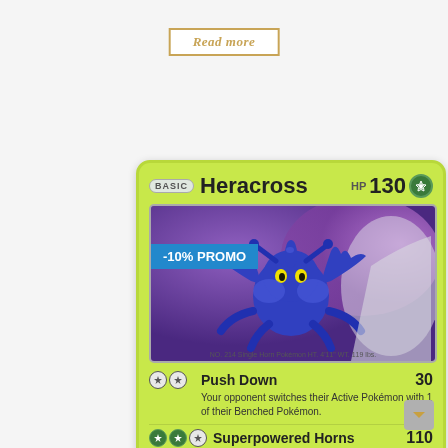Read more
[Figure (illustration): Pokemon trading card for Heracross, a Basic Grass-type Pokemon with 130 HP. The card features an illustration of the blue beetle Pokemon Heracross on a purple/cosmic background. Card shows two moves: Push Down (30 damage, switching effect) and Superpowered Horns (110 damage). A -10% PROMO banner overlays the card image. Dex text reads: NO. 214 Single Horn Pokemon HT. 4'11" WT. 119 lbs.]